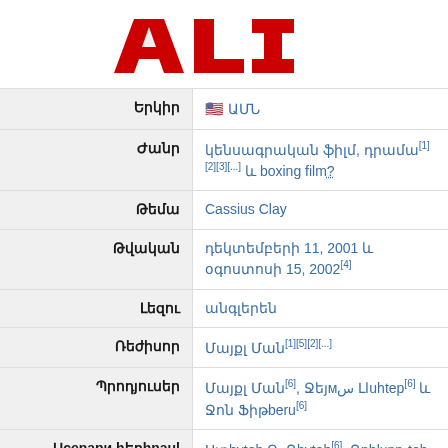[Figure (logo): ALI red block logo text]
| Label | Value |
| --- | --- |
| Երկիր | 🇺🇸 ԱՄՆ |
| Ժանր | կենսագրական ֆիլմ, դրամա[1][2][3][...] և boxing film? |
| Թեմա | Cassius Clay |
| Թվական | դեկտեմբերի 11, 2001 և օգոստոսի 15, 2002[4] |
| Լեզու | անգլերեն |
| Ռեժիսոր | Մայքլ Ման[1][5][2][...] |
| Պրոդյուսեր | Մայքլ Ման[6], Ջեյмс Լاuhtep[6] և Ջոն Ֆիթberu[6] |
| Սcenари hեղhnaul | Ստhvteh Ջ. Ռhvteh[6], Ռnhlunn֊teh |